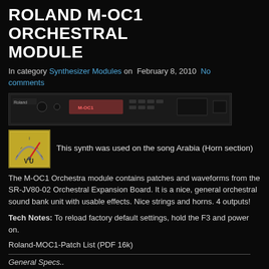ROLAND M-OC1 ORCHESTRAL MODULE
In category Synthesizer Modules on February 8, 2010 No comments
[Figure (photo): Roland M-OC1 Orchestral Module rack unit, front panel view, dark finish with display and controls]
This synth was used on the song Arabia (Horn section)
The M-OC1 Orchestra module contains patches and waveforms from the SR-JV80-02 Orchestral Expansion Board. It is a nice, general orchestral sound bank unit with usable effects. Nice strings and horns. 4 outputs!
Tech Notes: To reload factory default settings, hold the F3 and power on.
Roland-MOC1-Patch List (PDF 16k)
General Specs..
28-voice polyphony; eight-part multitimbral capabilities
8 Mbyte wave memory: 226 patches